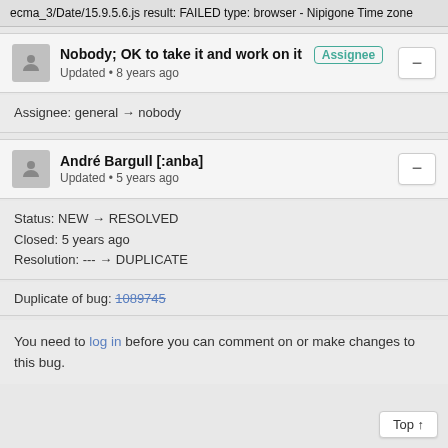ecma_3/Date/15.9.5.6.js result: FAILED type: browser - Nipigone Time zone
Nobody; OK to take it and work on it [Assignee]
Updated • 8 years ago
Assignee: general → nobody
André Bargull [:anba]
Updated • 5 years ago
Status: NEW → RESOLVED
Closed: 5 years ago
Resolution: --- → DUPLICATE
Duplicate of bug: 1089745
You need to log in before you can comment on or make changes to this bug.